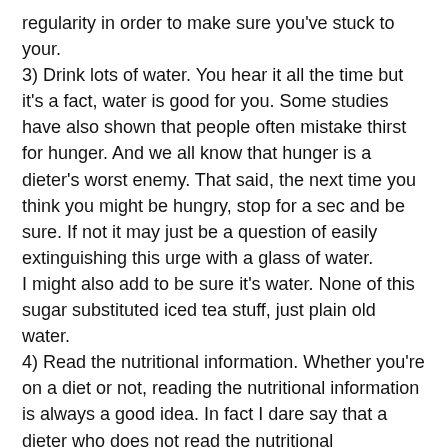regularity in order to make sure you've stuck to your.
3) Drink lots of water. You hear it all the time but it's a fact, water is good for you. Some studies have also shown that people often mistake thirst for hunger. And we all know that hunger is a dieter's worst enemy. That said, the next time you think you might be hungry, stop for a sec and be sure. If not it may just be a question of easily extinguishing this urge with a glass of water.
I might also add to be sure it's water. None of this sugar substituted iced tea stuff, just plain old water.
4) Read the nutritional information. Whether you're on a diet or not, reading the nutritional information is always a good idea. In fact I dare say that a dieter who does not read the nutritional information is akin to a financial expert who refuses to read bank statements. After all how do you know what you're eating if you don't even know what's in it. Burying your head in [TOP] and might make eating that tasty treat easier in the short te[TOP]t you owe it to yourself and your diet to read what's in it.
I sure hope this helps, they're just a couple things I'm trying out